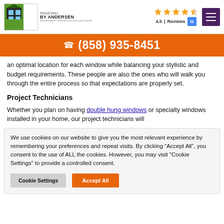[Figure (logo): Renewal by Andersen logo with green and black house icon and company name]
4.5 | Reviews
an optimal location for each window while balancing your stylistic and budget requirements. These people are also the ones who will walk you through the entire process so that expectations are properly set.
Project Technicians
Whether you plan on having double hung windows or specialty windows installed in your home, our project technicians will
We use cookies on our website to give you the most relevant experience by remembering your preferences and repeat visits. By clicking “Accept All”, you consent to the use of ALL the cookies. However, you may visit "Cookie Settings" to provide a controlled consent.